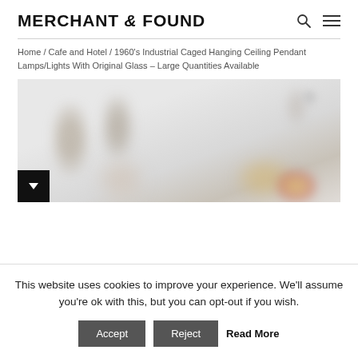MERCHANT & FOUND
Home / Cafe and Hotel / 1960's Industrial Caged Hanging Ceiling Pendant Lamps/Lights With Original Glass – Large Quantities Available
[Figure (photo): Blurred/defocused product photo of industrial caged hanging ceiling pendant lamps in light grey/beige tones with warm color accents at bottom]
This website uses cookies to improve your experience. We'll assume you're ok with this, but you can opt-out if you wish.